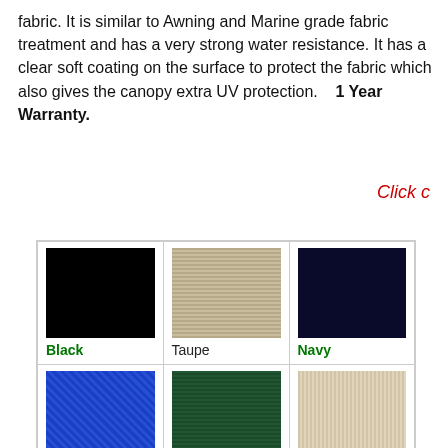fabric. It is similar to Awning and Marine grade fabric treatment and has a very strong water resistance. It has a clear soft coating on the surface to protect the fabric which also gives the canopy extra UV protection.   1 Year Warranty.
Click c
[Figure (illustration): Color swatch grid showing fabric color options: Black, Taupe, Navy in top row; Blue, Green, Beige (partial) in bottom row]